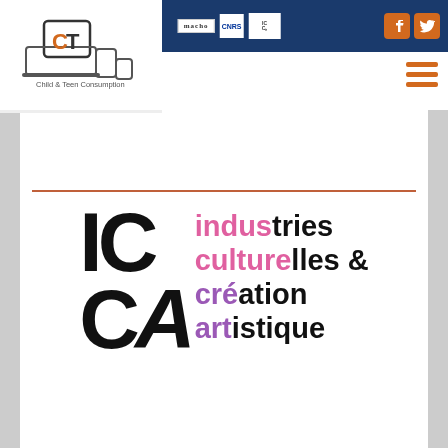Child & Teen Consumption / CNRS / ICCA header with social icons
[Figure (logo): Child & Teen Consumption logo with tablet/laptop icon and text]
[Figure (logo): ICCA - industries culturelles & création artistique logo with pink, black, and purple colored text]